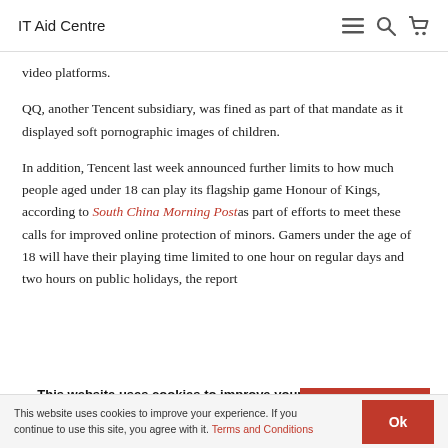IT Aid Centre
video platforms.
QQ, another Tencent subsidiary, was fined as part of that mandate as it displayed soft pornographic images of children.
In addition, Tencent last week announced further limits to how much people aged under 18 can play its flagship game Honour of Kings, according to South China Morning Post as part of efforts to meet these calls for improved online protection of minors. Gamers under the age of 18 will have their playing time limited to one hour on regular days and two hours on public holidays, the report
This website uses cookies to improve your experience. We'll assume you're ok with this, but you can opt-out if you wish.
This website uses cookies to improve your experience. If you continue to use this site, you agree with it. Terms and Conditions